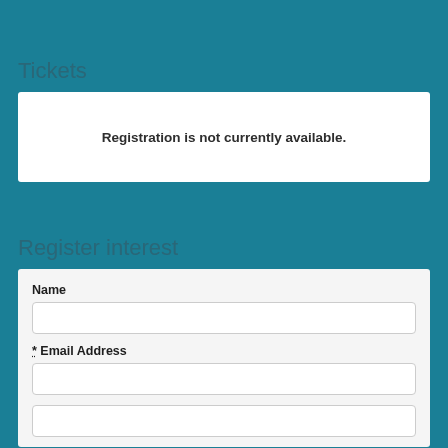Tickets
Registration is not currently available.
Register interest
Name
* Email Address